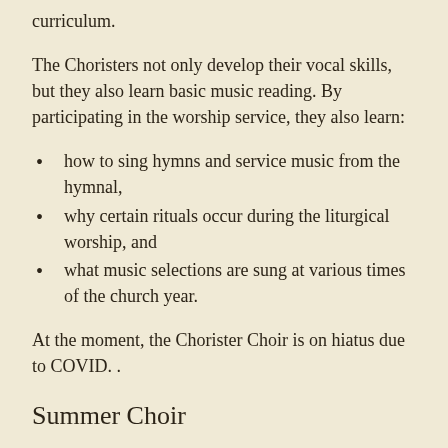curriculum.
The Choristers not only develop their vocal skills, but they also learn basic music reading. By participating in the worship service, they also learn:
how to sing hymns and service music from the hymnal,
why certain rituals occur during the liturgical worship, and
what music selections are sung at various times of the church year.
At the moment, the Chorister Choir is on hiatus due to COVID. .
Summer Choir
During the summer months, the choir sings an easy or familiar anthem once or twice a month (soloists, duets, or instrumentalists provide music for the other Sundays) which gives the choir a well-deserved break. Some choirs are also...